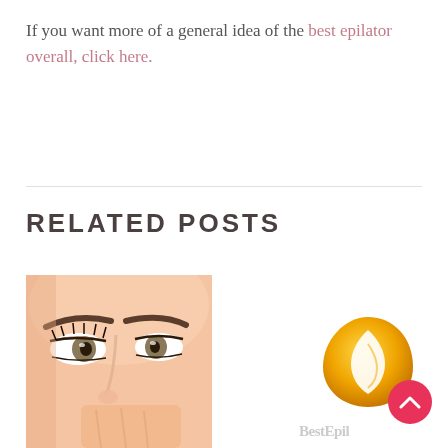If you want more of a general idea of the best epilator overall, click here.
RELATED POSTS
[Figure (photo): Close-up photo of a woman's face, showing eyes, eyebrows, and hand near face]
[Figure (logo): Best Epilator website logo — a flame/leaf shape in gold/orange gradient with partial text 'Best Epilator' below, and a red scroll-to-top button with chevron]